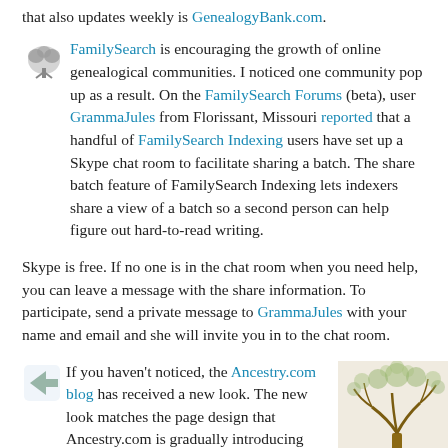that also updates weekly is GenealogyBank.com.
FamilySearch is encouraging the growth of online genealogical communities. I noticed one community pop up as a result. On the FamilySearch Forums (beta), user GrammaJules from Florissant, Missouri reported that a handful of FamilySearch Indexing users have set up a Skype chat room to facilitate sharing a batch. The share batch feature of FamilySearch Indexing lets indexers share a view of a batch so a second person can help figure out hard-to-read writing.
Skype is free. If no one is in the chat room when you need help, you can leave a message with the share information. To participate, send a private message to GrammaJules with your name and email and she will invite you in to the chat room.
If you haven't noticed, the Ancestry.com blog has received a new look. The new look matches the page design that Ancestry.com is gradually introducing throughout the
[Figure (illustration): Illustration of a tree with bare branches, appearing to be a genealogy/family tree graphic with a sepia/sketch style]